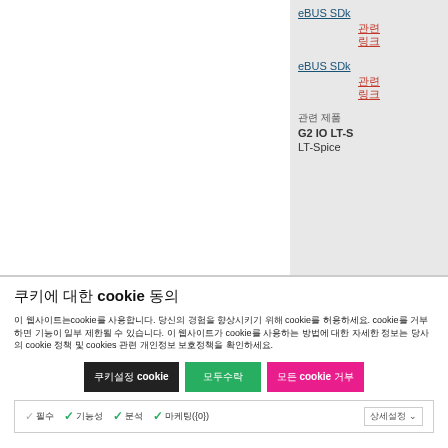eBUS SDK 관련 링크
eBUS SDK 관련 링크
관련 제품
G2 IO LT-S
LT-Spice
쿠키에 대한 cookie 동의
이 웹사이트는 cookie를 사용합니다. 당신의 경험을 향상시키기 위해 cookie를 허용하세요. cookie를 거부하면 기능이 일부 제한될 수 있습니다. 이 웹사이트가 cookie를 사용하는 방법에 대한 자세한 정보는 당사의 cookie 정책 및 cookies 관련 개인정보 보호정책을 확인하세요.
필수 cookie만 허용 / 모두 허용 / 모든 cookie 거부
필수 / 기능성 / 분석 / 마케팅({0})